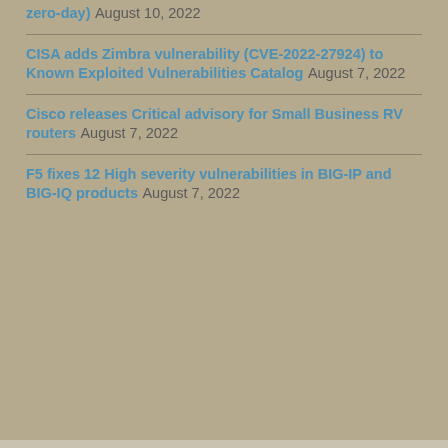zero-day) August 10, 2022
CISA adds Zimbra vulnerability (CVE-2022-27924) to Known Exploited Vulnerabilities Catalog August 7, 2022
Cisco releases Critical advisory for Small Business RV routers August 7, 2022
F5 fixes 12 High severity vulnerabilities in BIG-IP and BIG-IQ products August 7, 2022